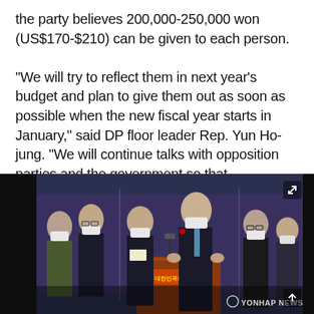the party believes 200,000-250,000 won (US$170-$210) can be given to each person.

"We will try to reflect them in next year's budget and plan to give them out as soon as possible when the new fiscal year starts in January," said DP floor leader Rep. Yun Ho-jung. "We will continue talks with opposition parties and the government so that discussions over the handouts can go smoothly."
[Figure (photo): Press conference photo showing several politicians wearing face masks standing at a podium. A man in a dark suit speaks at a microphone at the podium which reads Korean text. Others stand behind him. Yonhap News watermark visible in bottom right corner.]